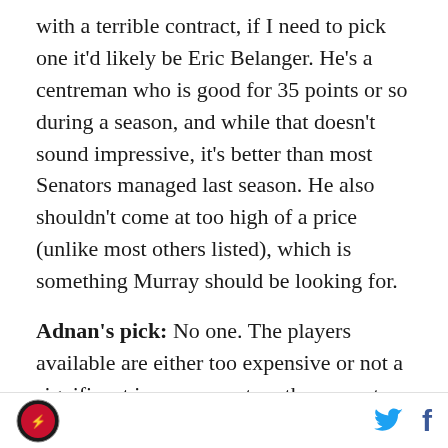with a terrible contract, if I need to pick one it'd likely be Eric Belanger. He's a centreman who is good for 35 points or so during a season, and while that doesn't sound impressive, it's better than most Senators managed last season. He also shouldn't come at too high of a price (unlike most others listed), which is something Murray should be looking for.
Adnan's pick: No one. The players available are either too expensive or not a significant improvement on the current options. In my mind, our top six at least at the start of training camp will be Jason Spezza, Nikita Filatov, Milan Michalek, Daniel Alfredsson, Bobby Butler and one of Peter Regin, Mika Zibanejad or Stephane da Costa. If the new signing isn't a great
Logo | Twitter | Facebook